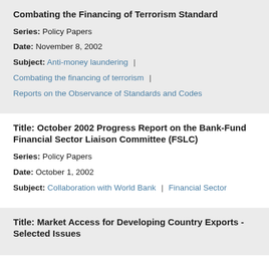Combating the Financing of Terrorism Standard
Series: Policy Papers
Date: November 8, 2002
Subject: Anti-money laundering | Combating the financing of terrorism | Reports on the Observance of Standards and Codes
Title: October 2002 Progress Report on the Bank-Fund Financial Sector Liaison Committee (FSLC)
Series: Policy Papers
Date: October 1, 2002
Subject: Collaboration with World Bank | Financial Sector
Title: Market Access for Developing Country Exports - Selected Issues